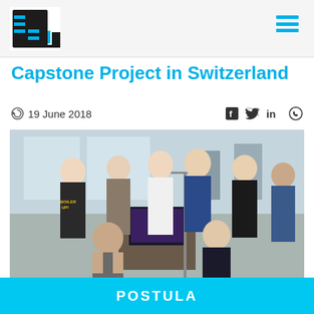UTEC logo and navigation menu
Capstone Project in Switzerland
19 June 2018
[Figure (photo): Group photo of students and researchers in a lab in Switzerland, posing around engineering equipment including a monitor and mechanical apparatus]
Ruth Canahuire, Coordinator of Mechatronics Engineering at UTEC, together with 3 students from the Electronic Engineering career,
POSTULA